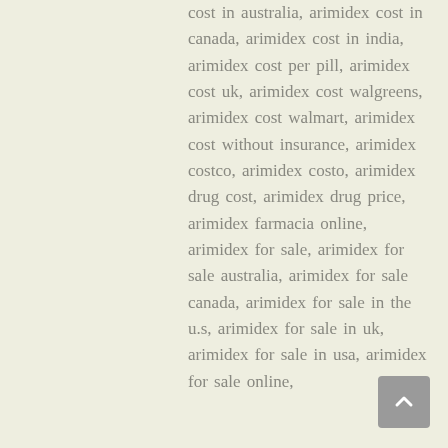cost in australia, arimidex cost in canada, arimidex cost in india, arimidex cost per pill, arimidex cost uk, arimidex cost walgreens, arimidex cost walmart, arimidex cost without insurance, arimidex costco, arimidex costo, arimidex drug cost, arimidex drug price, arimidex farmacia online, arimidex for sale, arimidex for sale australia, arimidex for sale canada, arimidex for sale in the u.s, arimidex for sale in uk, arimidex for sale in usa, arimidex for sale online,